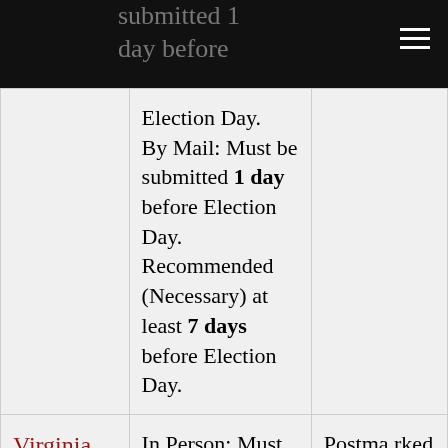submitted 1 day before Election Day.
| State | Deadline | Return Deadline |
| --- | --- | --- |
|  | Election Day. By Mail: Must be submitted 1 day before Election Day. Recommended (Necessary) at least 7 days before Election Day. |  |
| Virginia | In Person: Must be submitted 3 days before Election Day. | Postmarked by Election Day and received by noon 3 |